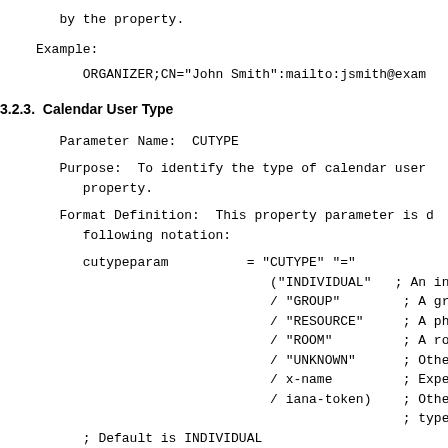by the property.
Example:
ORGANIZER;CN="John Smith":mailto:jsmith@exam
3.2.3.  Calendar User Type
Parameter Name:  CUTYPE
Purpose:  To identify the type of calendar user
      property.
Format Definition:  This property parameter is d
      following notation:
cutypeparam         = "CUTYPE" "="
                             ("INDIVIDUAL"   ; An indi
                             / "GROUP"        ; A group
                             / "RESOURCE"     ; A physi
                             / "ROOM"         ; A room
                             / "UNKNOWN"      ; Otherwi
                             / x-name         ; Experim
                             / iana-token)    ; Other I
                                              ; type
      ; Default is INDIVIDUAL
Description:  This parameter can be specified on